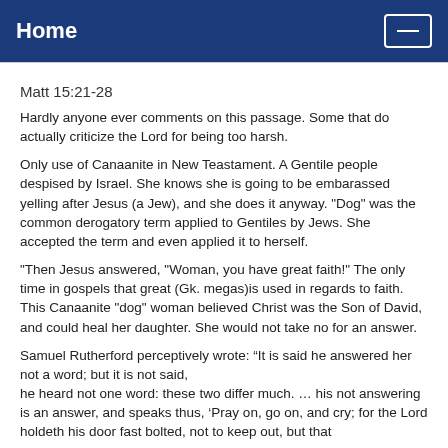Home
Matt 15:21-28
Hardly anyone ever comments on this passage. Some that do actually criticize the Lord for being too harsh.
Only use of Canaanite in New Teastament. A Gentile people despised by Israel. She knows she is going to be embarassed yelling after Jesus (a Jew), and she does it anyway. "Dog" was the common derogatory term applied to Gentiles by Jews. She accepted the term and even applied it to herself.
"Then Jesus answered, "Woman, you have great faith!" The only time in gospels that great (Gk. megas)is used in regards to faith. This Canaanite "dog" woman believed Christ was the Son of David, and could heal her daughter. She would not take no for an answer.
Samuel Rutherford perceptively wrote: “It is said he answered her not a word; but it is not said,
he heard not one word: these two differ much. … his not answering is an answer, and speaks thus, ‘Pray on, go on, and cry; for the Lord holdeth his door fast bolted, not to keep out, but that